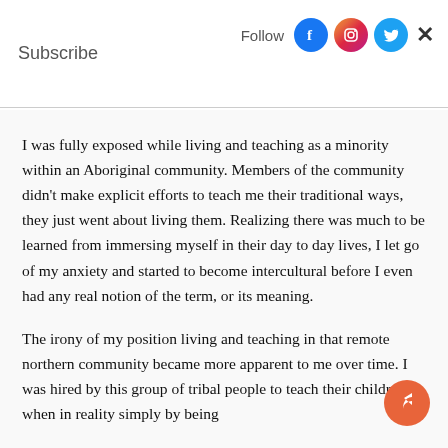Subscribe   Follow
I was fully exposed while living and teaching as a minority within an Aboriginal community. Members of the community didn't make explicit efforts to teach me their traditional ways, they just went about living them. Realizing there was much to be learned from immersing myself in their day to day lives, I let go of my anxiety and started to become intercultural before I even had any real notion of the term, or its meaning.
The irony of my position living and teaching in that remote northern community became more apparent to me over time. I was hired by this group of tribal people to teach their children when in reality simply by being